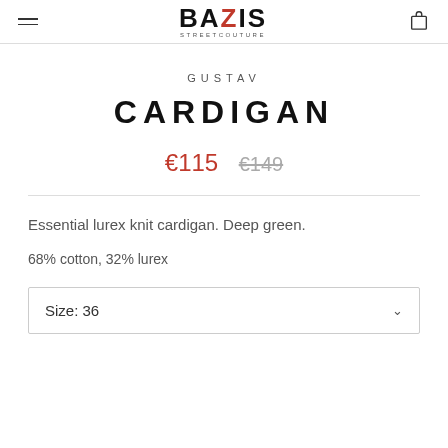BAZIS STREETCOUTURE
GUSTAV
CARDIGAN
€115  €149
Essential lurex knit cardigan. Deep green.
68% cotton, 32% lurex
Size: 36